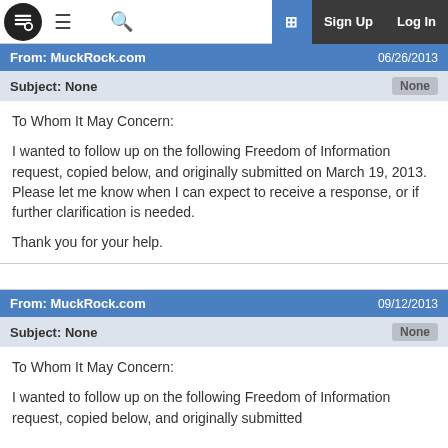MuckRock navigation bar with logo, menu, search, Sign Up, Log In
From: MuckRock.com  06/26/2013
Subject: None  None
To Whom It May Concern:

I wanted to follow up on the following Freedom of Information request, copied below, and originally submitted on March 19, 2013. Please let me know when I can expect to receive a response, or if further clarification is needed.

Thank you for your help.
From: MuckRock.com  09/12/2013
Subject: None  None
To Whom It May Concern:

I wanted to follow up on the following Freedom of Information request, copied below, and originally submitted